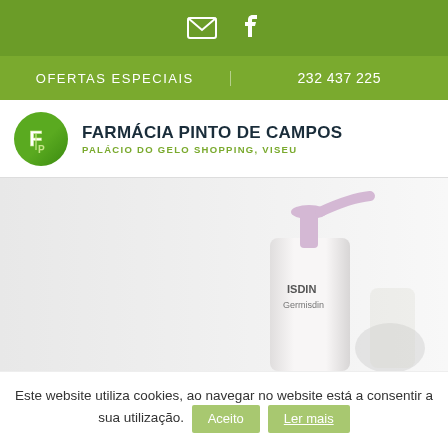Email and Facebook icons
OFERTAS ESPECIAIS | 232 437 225
[Figure (logo): Farmácia Pinto de Campos logo — green circle with stylized F and P letters, pharmacy name and subtitle]
FARMÁCIA PINTO DE CAMPOS
PALÁCIO DO GELO SHOPPING, VISEU
[Figure (photo): Product photo: ISDIN Germisdin pump dispenser bottle with pink pump top, white bottle with product label visible, another product blurred in background]
Este website utiliza cookies, ao navegar no website está a consentir a sua utilização.
Aceito
Ler mais